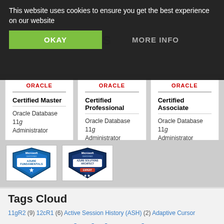This website uses cookies to ensure you get the best experience on our website
OKAY
MORE INFO
Certifications
| Certified Master | Certified Professional | Certified Associate |
| --- | --- | --- |
| Oracle Database 11g Administrator | Oracle Database 11g Administrator | Oracle Database 11g Administrator |
[Figure (illustration): Microsoft Certified Azure Fundamentals badge - blue shield with star]
[Figure (illustration): Microsoft Certified Azure Solutions Architect Expert badge - dark blue shield with three stars]
Tags Cloud
11gR2 (9) 12cR1 (6) Active Session History (ASH) (2) Adaptive Cursor Sharing (ACS) (2) Administration (37) Ambari (1) Application Continuity (AC) (1) Automatic Data Optimization (ADO) (1) Automatic